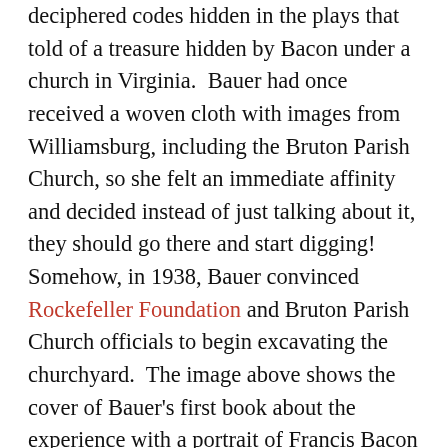deciphered codes hidden in the plays that told of a treasure hidden by Bacon under a church in Virginia.  Bauer had once received a woven cloth with images from Williamsburg, including the Bruton Parish Church, so she felt an immediate affinity and decided instead of just talking about it, they should go there and start digging!  Somehow, in 1938, Bauer convinced Rockefeller Foundation and Bruton Parish Church officials to begin excavating the churchyard.  The image above shows the cover of Bauer's first book about the experience with a portrait of Francis Bacon (not unlike the image in Hall's work mentioned above).  She published several other works about it, went on to marry Manly Hall in 1950, and continued her quest to uncover the vault until she died.

The initial dig in 1938 was followed by several